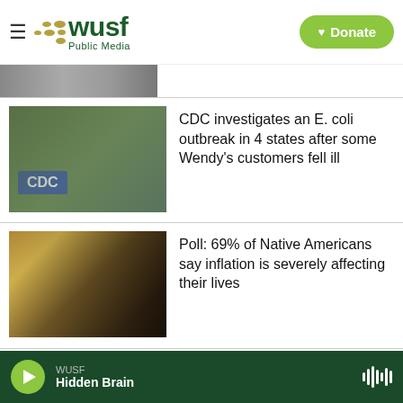[Figure (logo): WUSF Public Media logo with golden dots and green text, hamburger menu icon, and green Donate button]
[Figure (photo): Partial cropped photo at top of content area]
CDC investigates an E. coli outbreak in 4 states after some Wendy's customers fell ill
Poll: 69% of Native Americans say inflation is severely affecting their lives
Texas artists honor the Uvalde victims with 21 murals they hope will help
[Figure (screenshot): WUSF audio player bar at bottom showing Hidden Brain program, with green play button]